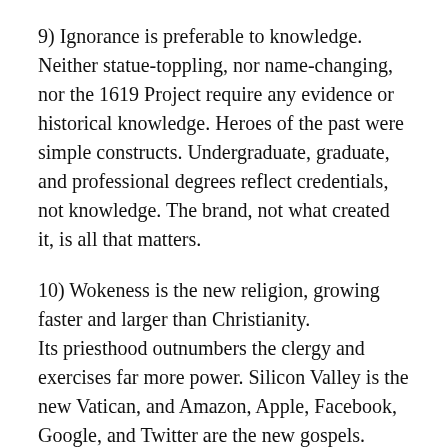9) Ignorance is preferable to knowledge. Neither statue-toppling, nor name-changing, nor the 1619 Project require any evidence or historical knowledge. Heroes of the past were simple constructs. Undergraduate, graduate, and professional degrees reflect credentials, not knowledge. The brand, not what created it, is all that matters.
10) Wokeness is the new religion, growing faster and larger than Christianity. Its priesthood outnumbers the clergy and exercises far more power. Silicon Valley is the new Vatican, and Amazon, Apple, Facebook, Google, and Twitter are the new gospels.